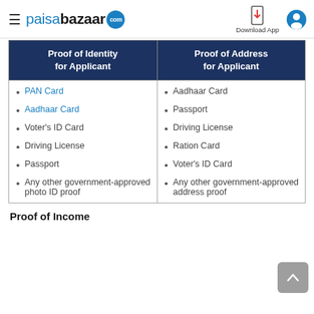paisabazaar.com — Download App
| Proof of Identity for Applicant | Proof of Address for Applicant |
| --- | --- |
| PAN Card
Aadhaar Card
Voter's ID Card
Driving License
Passport
Any other government-approved photo ID proof | Aadhaar Card
Passport
Driving License
Ration Card
Voter's ID Card
Any other government-approved address proof |
Proof of Income